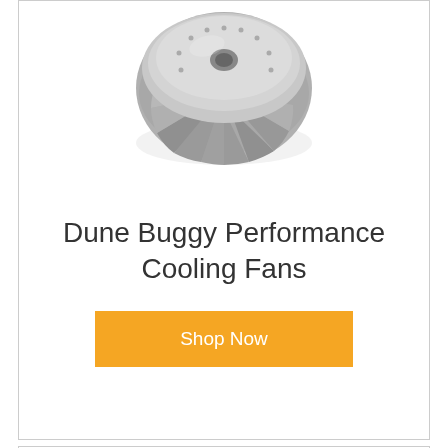[Figure (photo): A dune buggy performance cooling fan, shown from above at an angle — a circular metal fan with turbine-style blades, silver/grey in color.]
Dune Buggy Performance Cooling Fans
Shop Now
[Figure (photo): A metal crankshaft or similar engine component, dark grey, partially visible at bottom of page.]